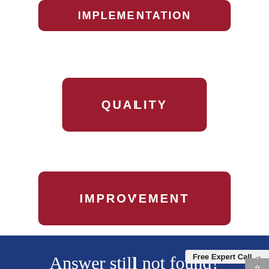[Figure (infographic): Red rounded rectangle button labeled IMPLEMENTATION at the top, partially visible at top of page]
[Figure (infographic): Red rounded rectangle button labeled QUALITY in center of page]
[Figure (infographic): Red rounded rectangle button labeled IMPROVEMENT below QUALITY]
Answer still not found?
If you checked all the sections in the Academy, yet still not found the answer to your question, ask it here. To help you best, pleas possible and please understand.
Free Expert Call →